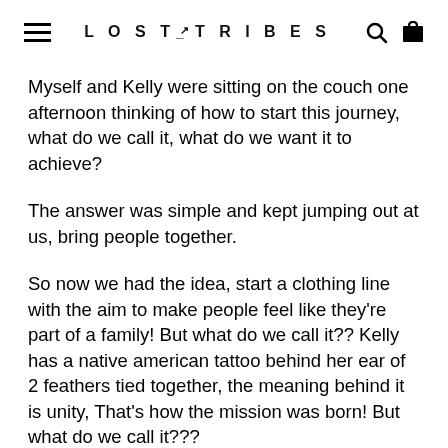LOST TRIBES
Myself and Kelly were sitting on the couch one afternoon thinking of how to start this journey, what do we call it, what do we want it to achieve?
The answer was simple and kept jumping out at us, bring people together.
So now we had the idea, start a clothing line with the aim to make people feel like they're part of a family! But what do we call it?? Kelly has a native american tattoo behind her ear of 2 feathers tied together, the meaning behind it is unity, That's how the mission was born! But what do we call it???